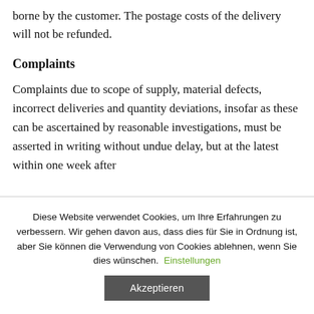borne by the customer. The postage costs of the delivery will not be refunded.
Complaints
Complaints due to scope of supply, material defects, incorrect deliveries and quantity deviations, insofar as these can be ascertained by reasonable investigations, must be asserted in writing without undue delay, but at the latest within one week after
Diese Website verwendet Cookies, um Ihre Erfahrungen zu verbessern. Wir gehen davon aus, dass dies für Sie in Ordnung ist, aber Sie können die Verwendung von Cookies ablehnen, wenn Sie dies wünschen. Einstellungen
Akzeptieren